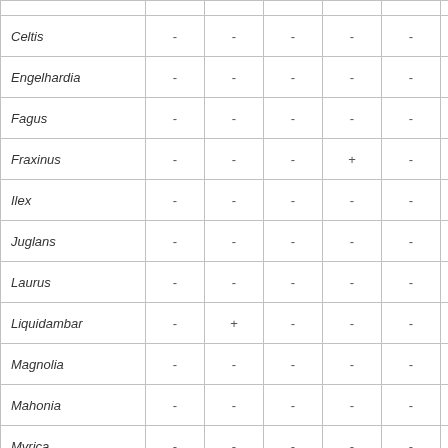| Taxon | Col1 | Col2 | Col3 | Col4 | Col5 | Col6 |
| --- | --- | --- | --- | --- | --- | --- |
|  |  |  |  |  |  |  |
| Celtis | - | - | - | - | - | - |
| Engelhardia | - | - | - | - | - | - |
| Fagus | - | - | - | - | - | - |
| Fraxinus | - | - | - | + | - | - |
| Ilex | - | - | - | - | - | - |
| Juglans | - | - | - | - | - | - |
| Laurus | - | - | - | - | - | - |
| Liquidambar | - | + | - | - | - | - |
| Magnolia | - | - | - | - | - | - |
| Mahonia | - | - | - | - | - | - |
| Myrica | - | - | - | - | - | - |
| Palmae | - | + |  |  |  |  |